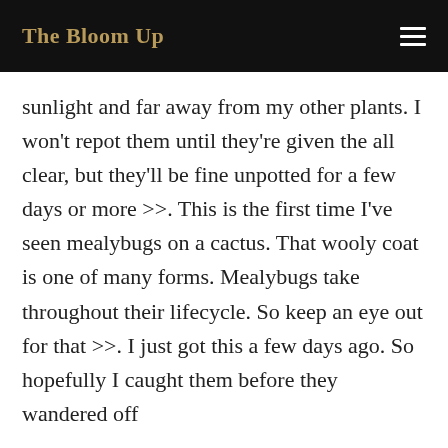The Bloom Up
sunlight and far away from my other plants. I won't repot them until they're given the all clear, but they'll be fine unpotted for a few days or more >>. This is the first time I've seen mealybugs on a cactus. That wooly coat is one of many forms. Mealybugs take throughout their lifecycle. So keep an eye out for that >>. I just got this a few days ago. So hopefully I caught them before they wandered off